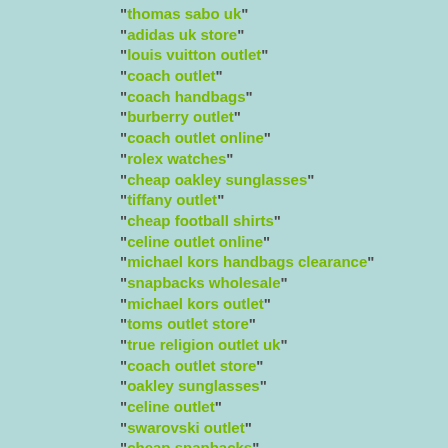"thomas sabo uk"
"adidas uk store"
"louis vuitton outlet"
"coach outlet"
"coach handbags"
"burberry outlet"
"coach outlet online"
"rolex watches"
"cheap oakley sunglasses"
"tiffany outlet"
"cheap football shirts"
"celine outlet online"
"michael kors handbags clearance"
"snapbacks wholesale"
"michael kors outlet"
"toms outlet store"
"true religion outlet uk"
"coach outlet store"
"oakley sunglasses"
"celine outlet"
"swarovski outlet"
"cheap snapbacks"